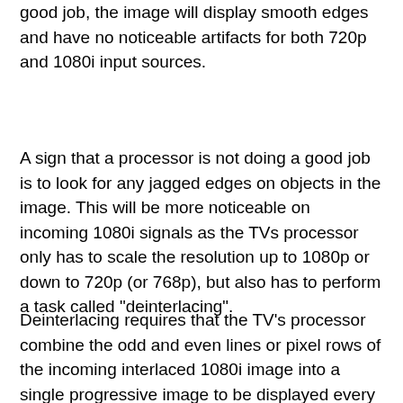good job, the image will display smooth edges and have no noticeable artifacts for both 720p and 1080i input sources.
A sign that a processor is not doing a good job is to look for any jagged edges on objects in the image. This will be more noticeable on incoming 1080i signals as the TVs processor only has to scale the resolution up to 1080p or down to 720p (or 768p), but also has to perform a task called "deinterlacing".
Deinterlacing requires that the TV's processor combine the odd and even lines or pixel rows of the incoming interlaced 1080i image into a single progressive image to be displayed every 60th of a second. Some processors do this very well, and some don't.